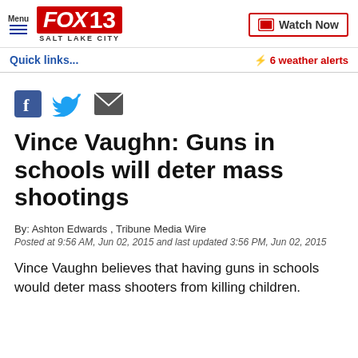FOX 13 Salt Lake City | Menu | Watch Now
Quick links...
⚡ 6 weather alerts
[Figure (logo): Facebook, Twitter, and email share icons]
Vince Vaughn: Guns in schools will deter mass shootings
By: Ashton Edwards , Tribune Media Wire
Posted at 9:56 AM, Jun 02, 2015 and last updated 3:56 PM, Jun 02, 2015
Vince Vaughn believes that having guns in schools would deter mass shooters from killing children.